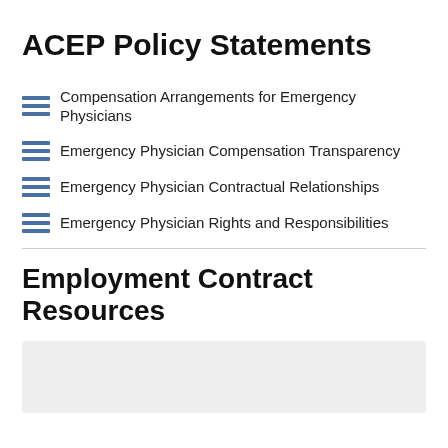ACEP Policy Statements
Compensation Arrangements for Emergency Physicians
Emergency Physician Compensation Transparency
Emergency Physician Contractual Relationships
Emergency Physician Rights and Responsibilities
Employment Contract Resources
[Figure (other): Gray placeholder box for employment contract resources content]